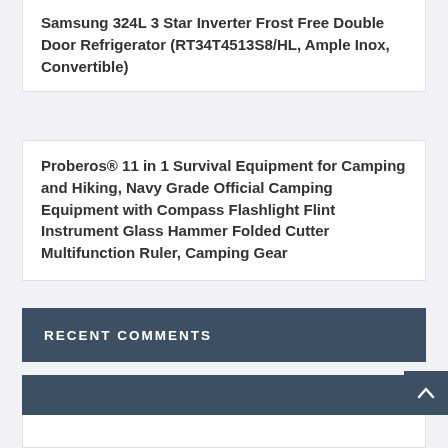Samsung 324L 3 Star Inverter Frost Free Double Door Refrigerator (RT34T4513S8/HL, Ample Inox, Convertible)
Proberos® 11 in 1 Survival Equipment for Camping and Hiking, Navy Grade Official Camping Equipment with Compass Flashlight Flint Instrument Glass Hammer Folded Cutter Multifunction Ruler, Camping Gear
RECENT COMMENTS